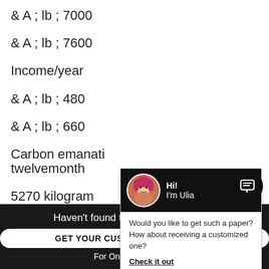& A ; lb ; 7000
& A ; lb ; 7600
Income/year
& A ; lb ; 480
& A ; lb ; 660
Carbon emanati twelvemonth
5270 kilogram
[Figure (screenshot): Chat popup with avatar of Ulia, greeting Hi! I'm Ulia, and message: Would you like to get such a paper? How about receiving a customized one? Check it out]
Haven't found the Essay You Want?
GET YOUR CUSTOM ESSAY SAMPLE
For Only $13.90/page